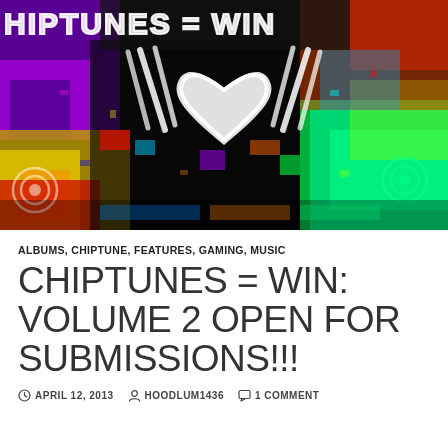[Figure (illustration): Colorful digital artwork showing neon colors (purple, yellow, red, green, cyan) with a white hand-drawn heart shape in the center, white graffiti-style text reading CHIPTUNES = WIN at the top, against a dark background with abstract pixel-art urban imagery]
ALBUMS, CHIPTUNE, FEATURES, GAMING, MUSIC
CHIPTUNES = WIN: VOLUME 2 OPEN FOR SUBMISSIONS!!!
APRIL 12, 2013  HOODLUM1436  1 COMMENT